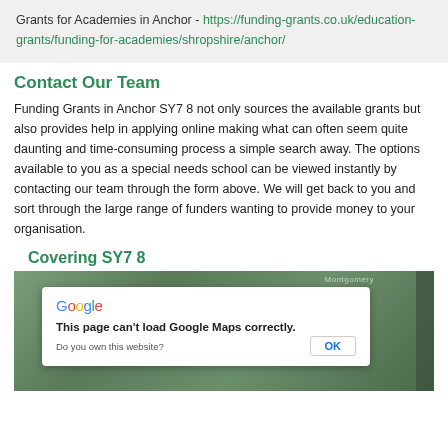Grants for Academies in Anchor - https://funding-grants.co.uk/education-grants/funding-for-academies/shropshire/anchor/
Contact Our Team
Funding Grants in Anchor SY7 8 not only sources the available grants but also provides help in applying online making what can often seem quite daunting and time-consuming process a simple search away. The options available to you as a special needs school can be viewed instantly by contacting our team through the form above. We will get back to you and sort through the large range of funders wanting to provide money to your organisation.
Covering SY7 8
[Figure (map): Google Maps embed showing SY7 8 area with a dialog overlay saying 'This page can't load Google Maps correctly.' with an OK button and 'Do you own this website?' text.]